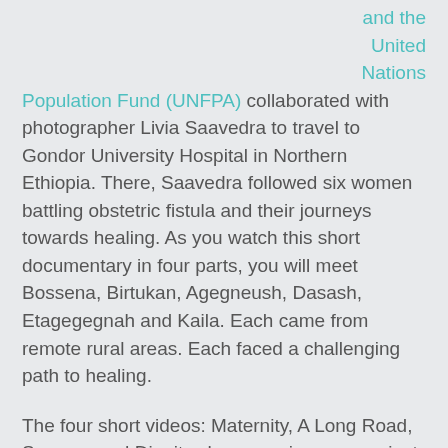and the United Nations Population Fund (UNFPA) collaborated with photographer Livia Saavedra to travel to Gondor University Hospital in Northern Ethiopia. There, Saavedra followed six women battling obstetric fistula and their journeys towards healing. As you watch this short documentary in four parts, you will meet Bossena, Birtukan, Agegneush, Dasash, Etagegegnah and Kaila. Each came from remote rural areas. Each faced a challenging path to healing.
The four short videos: Maternity, A Long Road, Surgery, and Dignity show us a journey against monumental cultural, economic and physical barriers. Obstetric fistula affects the poorest, those with the least access